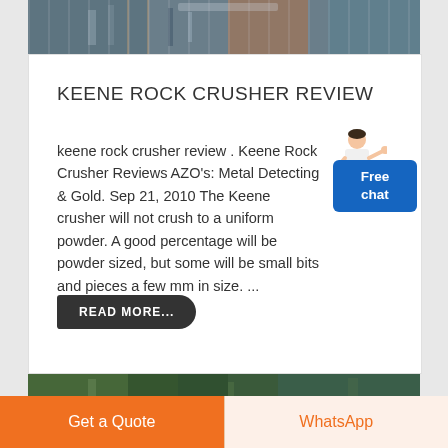[Figure (photo): Industrial machinery / rock crusher plant interior photo strip at top]
KEENE ROCK CRUSHER REVIEW
keene rock crusher review . Keene Rock Crusher Reviews AZO's: Metal Detecting & Gold. Sep 21, 2010 The Keene crusher will not crush to a uniform powder. A good percentage will be powder sized, but some will be small bits and pieces a few mm in size. ...
[Figure (illustration): Free chat widget with cartoon customer service person and blue box saying Free chat]
READ MORE...
[Figure (photo): Second industrial/outdoor machinery photo strip at bottom]
Get a Quote | WhatsApp